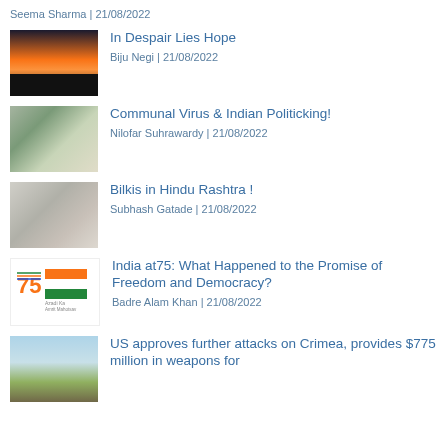Seema Sharma | 21/08/2022
In Despair Lies Hope — Biju Negi | 21/08/2022
Communal Virus & Indian Politicking! — Nilofar Suhrawardy | 21/08/2022
Bilkis in Hindu Rashtra ! — Subhash Gatade | 21/08/2022
India at75: What Happened to the Promise of Freedom and Democracy? — Badre Alam Khan | 21/08/2022
US approves further attacks on Crimea, provides $775 million in weapons for